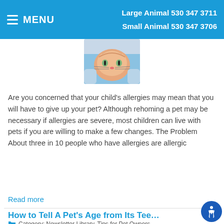Large Animal 530 347 3711 | Small Animal 530 347 3706 | MENU
[Figure (photo): Close-up photo of a cat (orange/ginger) being held or examined, with a person in a blue top visible in background]
Are you concerned that your child's allergies may mean that you will have to give up your pet? Although rehoming a pet may be necessary if allergies are severe, most children can live with pets if you are willing to make a few changes. The Problem About three in 10 people who have allergies are allergic
Read more
How to Tell A Pet's Age from Its Tee…
Category: Newsletter Library, Tips for Pet Owners